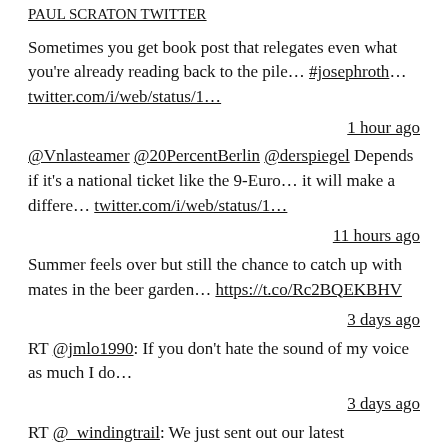PAUL SCRATON TWITTER
Sometimes you get book post that relegates even what you're already reading back to the pile… #josephroth… twitter.com/i/web/status/1…
1 hour ago
@Vnlasteamer @20PercentBerlin @derspiegel Depends if it's a national ticket like the 9-Euro… it will make a differe… twitter.com/i/web/status/1…
11 hours ago
Summer feels over but still the chance to catch up with mates in the beer garden… https://t.co/Rc2BQEKBHV
3 days ago
RT @jmlo1990: If you don't hate the sound of my voice as much I do…
3 days ago
RT @_windingtrail: We just sent out our latest POSTCARD FROM THE WINDING TRAIL, including a story from Vienna, a round-up of what we've bee…